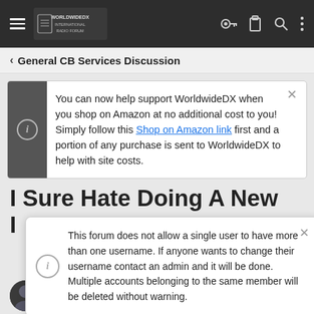[Figure (screenshot): WorldwideDX Radio Forum navigation bar with hamburger menu, logo, key icon, clipboard icon, search icon, and more options icon on dark background]
< General CB Services Discussion
You can now help support WorldwideDX when you shop on Amazon at no additional cost to you! Simply follow this Shop on Amazon link first and a portion of any purchase is sent to WorldwideDX to help with site costs.
I Sure Hate Doing A New
This forum does not allow a single user to have more than one username. If anyone wants to change their username contact an admin and it will be done. Multiple accounts belonging to the same member will be deleted without warning.
Professional Amateur  Staff member